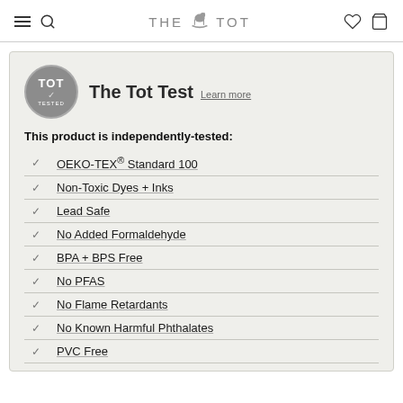THE TOT
[Figure (logo): The Tot Test badge — circular gray badge with TOT text and checkmark, labeled TESTED]
The Tot Test Learn more
This product is independently-tested:
OEKO-TEX® Standard 100
Non-Toxic Dyes + Inks
Lead Safe
No Added Formaldehyde
BPA + BPS Free
No PFAS
No Flame Retardants
No Known Harmful Phthalates
PVC Free